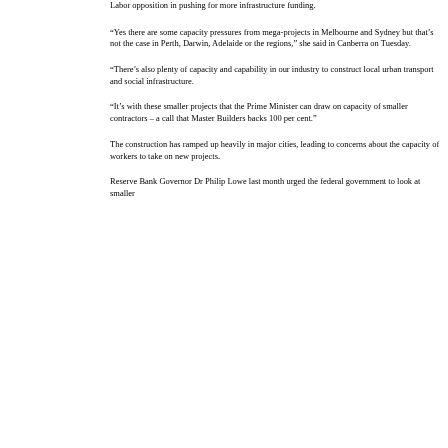Labor opposition in pushing for more infrastructure funding.
“Yes there are some capacity pressures from mega-projects in Melbourne and Sydney but that’s not the case in Perth, Darwin, Adelaide or the regions,” she said in Canberra on Tuesday.
“There’s also plenty of capacity and capability in our industry to construct local urban transport and social infrastructure.
“It’s with these smaller projects that the Prime Minister can draw on capacity of smaller contractors – a call that Master Builders backs 100 per cent.”
The construction has ramped up heavily in major cities, leading to concerns about the capacity of workers to take on new projects.
Reserve Bank Governor Dr Philip Lowe last month urged the federal government to look at smaller